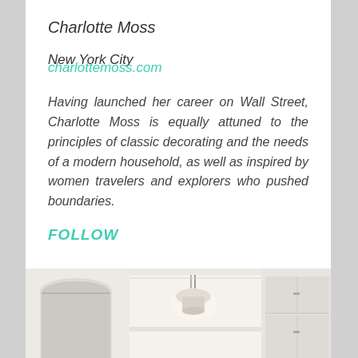Charlotte Moss
New York City
charlottemoss.com
Having launched her career on Wall Street, Charlotte Moss is equally attuned to the principles of classic decorating and the needs of a modern household, as well as inspired by women travelers and explorers who pushed boundaries.
FOLLOW
[Figure (photo): Interior room photo showing white kitchen/dining area with pendant light fixture and architectural details including arched doorways and crown molding]